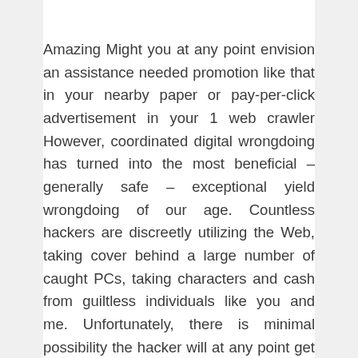Amazing Might you at any point envision an assistance needed promotion like that in your nearby paper or pay-per-click advertisement in your 1 web crawler However, coordinated digital wrongdoing has turned into the most beneficial – generally safe – exceptional yield wrongdoing of our age. Countless hackers are discreetly utilizing the Web, taking cover behind a large number of caught PCs, taking characters and cash from guiltless individuals like you and me. Unfortunately, there is minimal possibility the hacker will at any point get found out. Coordinated digital wrongdoing has turned into a hotshot calling. Proficient